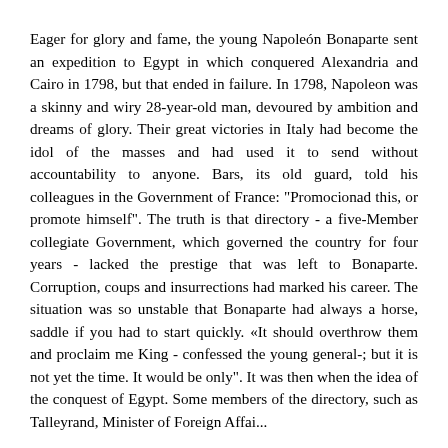Eager for glory and fame, the young Napoleón Bonaparte sent an expedition to Egypt in which conquered Alexandria and Cairo in 1798, but that ended in failure. In 1798, Napoleon was a skinny and wiry 28-year-old man, devoured by ambition and dreams of glory. Their great victories in Italy had become the idol of the masses and had used it to send without accountability to anyone. Bars, its old guard, told his colleagues in the Government of France: "Promocionad this, or promote himself". The truth is that directory - a five-Member collegiate Government, which governed the country for four years - lacked the prestige that was left to Bonaparte. Corruption, coups and insurrections had marked his career. The situation was so unstable that Bonaparte had always a horse, saddle if you had to start quickly. «It should overthrow them and proclaim me King - confessed the young general-; but it is not yet the time. It would be only". It was then when the idea of the conquest of Egypt. Some members of the directory, such as Talleyrand, Minister of Foreign Affairs...